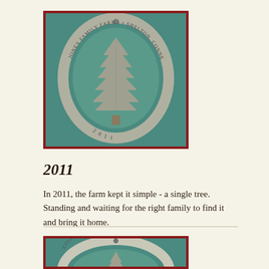[Figure (photo): A pewter ornament with an oval frame containing a single Christmas tree. Text around the oval reads 'JONES FAMILY FARMS • SHELTON, CONNECTICUT' with '2011' at the bottom. The ornament sits on a teal/green background.]
2011
In 2011, the farm kept it simple - a single tree. Standing and waiting for the right family to find it and bring it home.
[Figure (photo): Partial view of another pewter ornament on a teal background, showing the bottom portion with decorative snowflake or tree pattern visible.]